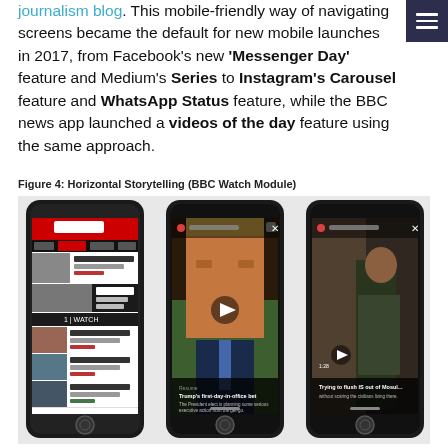journalism blog. This mobile-friendly way of navigating screens became the default for new mobile launches in 2017, from Facebook's new 'Messenger Day' feature and Medium's Series to Instagram's Carousel feature and WhatsApp Status feature, while the BBC news app launched a videos of the day feature using the same approach.
Figure 4: Horizontal Storytelling (BBC Watch Module)
[Figure (photo): Three smartphone screenshots showing the BBC News app and its horizontal storytelling/watch module feature. Left phone shows the BBC News app home screen with 'Videos of the day' section. Middle phone shows a full-screen video of Donald Trump with caption 'Trump's first-day-in-office bet'. Right phone shows a full-screen video of a soldier with caption 'Trying to flush IS out of Mosul...'.]